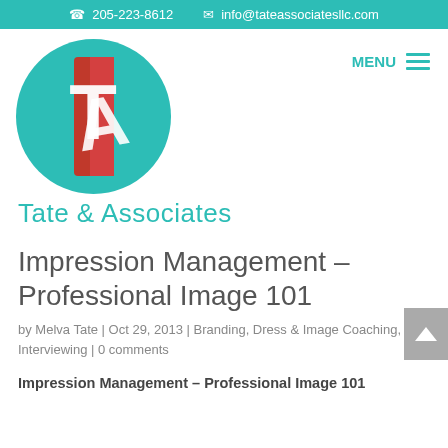205-223-8612  info@tateassociatesllc.com
[Figure (logo): Tate & Associates circular logo with teal and red colors showing 'TA' letters]
Tate & Associates
MENU
Impression Management – Professional Image 101
by Melva Tate | Oct 29, 2013 | Branding, Dress & Image Coaching, Interviewing | 0 comments
Impression Management – Professional Image 101